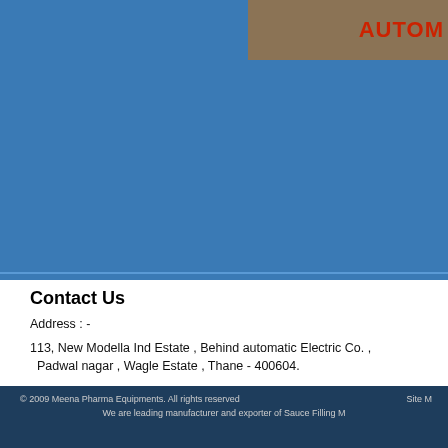[Figure (photo): Top banner area with blue background and partial text 'AUTOM' in red on brown/tan background image at top right]
Contact Us
Address : -
113, New Modella Ind Estate , Behind automatic Electric Co. , Padwal nagar , Wagle Estate , Thane - 400604.
Tel  :-
+91 - 22 - 25820924 , +91 - 22 - 25811176
Fax :-
+91 - 22 - 25811176
E-mail :-      meenapharma@vsnl.net
Website : - http://www.meenapharmaeqp.com
                http://www.fillingcappingmachine.com
© 2009 Meena Pharma Equipments. All rights reserved    Site M
We are leading manufacturer and exporter of Sauce Filling M